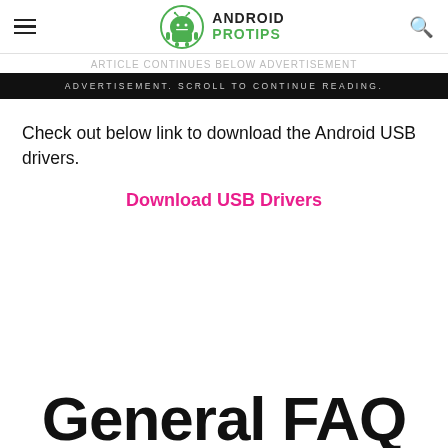ANDROID PRO TIPS
ADVERTISEMENT. SCROLL TO CONTINUE READING.
Check out below link to download the Android USB drivers.
Download USB Drivers
General FAQ